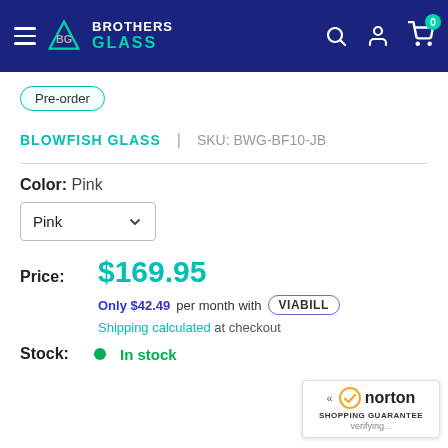[Figure (screenshot): Brothers Glass e-commerce website navigation bar with hamburger menu, Brothers Glass logo, search icon, account icon, and cart icon with badge showing 0]
Pre-order
BLOWFISH GLASS | SKU: BWG-BF10-JB
Color: Pink
Pink (dropdown)
Price: $169.95
Only $42.49 per month with VIABILL
Shipping calculated at checkout
Stock: In stock
[Figure (logo): Norton Shopping Guarantee badge with checkmark and verifying... text]